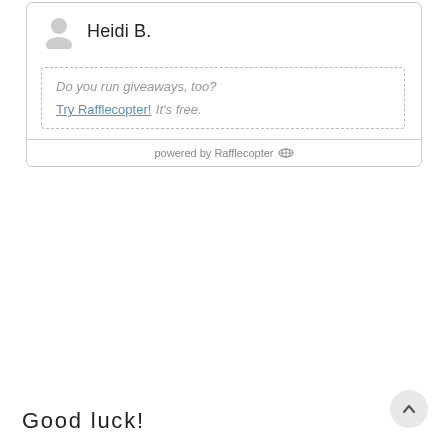[Figure (screenshot): Rafflecopter giveaway widget showing a winner named Heidi B. with a default avatar icon, a promotional dashed box asking 'Do you run giveaways, too? Try Rafflecopter! It's free.' and a footer reading 'powered by Rafflecopter' with a logo.]
Good luck!